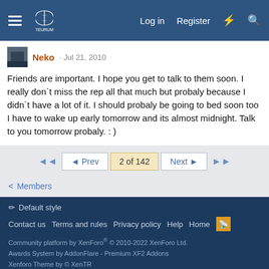Log in  Register
Neko · Jul 21, 2010
Friends are important. I hope you get to talk to them soon. I really don`t miss the rep all that much but probaly because I didn`t have a lot of it. I should probaly be going to bed soon too I have to wake up early tomorrow and its almost midnight. Talk to you tomorrow probaly. : )
◄◄  ◄ Prev  2 of 142  Next ►  ►►
< Members
✏ Default style
Contact us  Terms and rules  Privacy policy  Help  Home
Community platform by XenForo® © 2010-2022 XenForo Ltd.
Awards System by AddonFlare - Premium XF2 Addons
Xenforo Theme by © XenTR